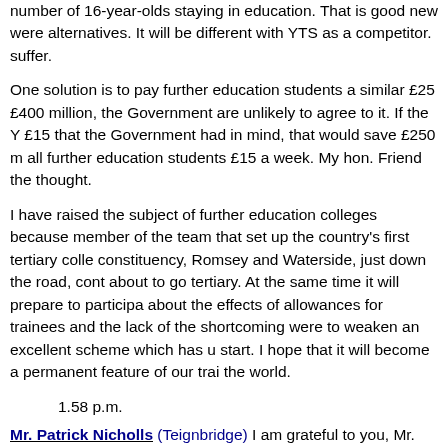number of 16-year-olds staying in education. That is good news. There were alternatives. It will be different with YTS as a competitor. suffer.
One solution is to pay further education students a similar £25 £400 million, the Government are unlikely to agree to it. If the Y £15 that the Government had in mind, that would save £250 m all further education students £15 a week. My hon. Friend the thought.
I have raised the subject of further education colleges because member of the team that set up the country's first tertiary colle constituency, Romsey and Waterside, just down the road, cont about to go tertiary. At the same time it will prepare to participa about the effects of allowances for trainees and the lack of the shortcoming were to weaken an excellent scheme which has u start. I hope that it will become a permanent feature of our trai the world.
1.58 p.m.
Mr. Patrick Nicholls (Teignbridge) I am grateful to you, Mr. De